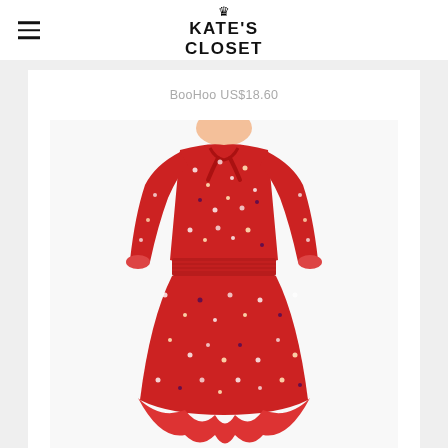KATE'S CLOSET
BooHoo US$18.60
[Figure (photo): Woman wearing a red floral long-sleeve midi dress with tie neck, smocked waist, and ruffle hem from BooHoo, priced at US$18.60]